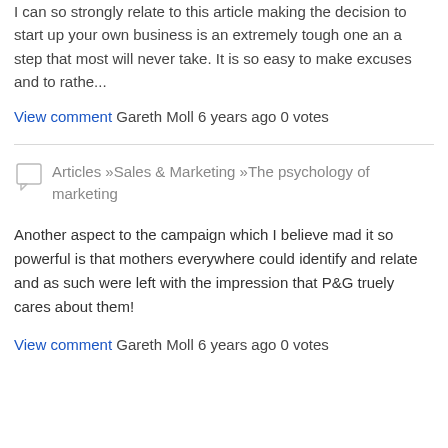I can so strongly relate to this article making the decision to start up your own business is an extremely tough one an a step that most will never take. It is so easy to make excuses and to rathe...
View comment Gareth Moll 6 years ago 0 votes
Articles »Sales & Marketing »The psychology of marketing
Another aspect to the campaign which I believe mad it so powerful is that mothers everywhere could identify and relate and as such were left with the impression that P&G truely cares about them!
View comment Gareth Moll 6 years ago 0 votes